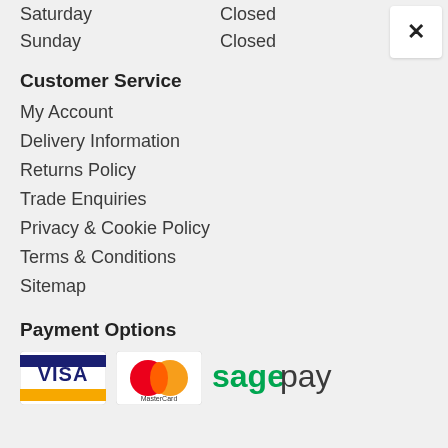Saturday — Closed
Sunday — Closed
Customer Service
My Account
Delivery Information
Returns Policy
Trade Enquiries
Privacy & Cookie Policy
Terms & Conditions
Sitemap
Payment Options
[Figure (logo): Payment logos: Visa, MasterCard, Sage Pay]